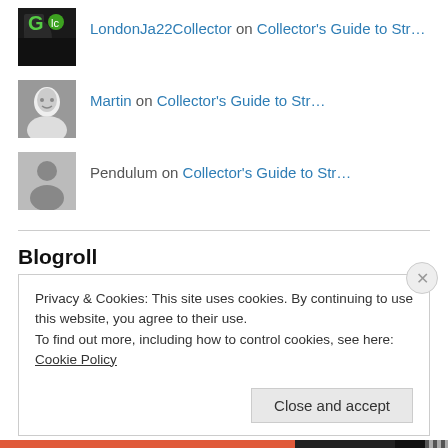LondonJa22Collector on Collector's Guide to Str…
Martin on Collector's Guide to Str…
Pendulum on Collector's Guide to Str…
Blogroll
Andrew Cartmel
Between Sound and Space
Privacy & Cookies: This site uses cookies. By continuing to use this website, you agree to their use. To find out more, including how to control cookies, see here: Cookie Policy
Close and accept